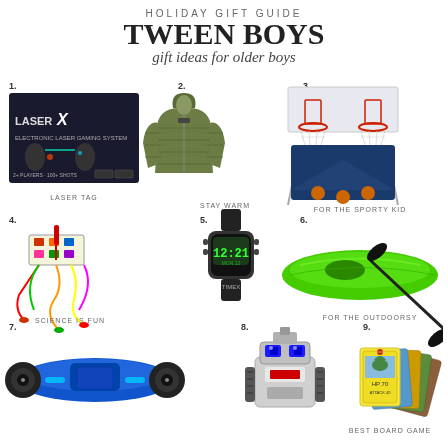HOLIDAY GIFT GUIDE
TWEEN BOYS
gift ideas for older boys
[Figure (infographic): Holiday gift guide collage for tween boys showing 9 numbered items: 1. Laser Tag (Laser X box), 2. Stay Warm (green puffer jacket), 3. For the Sporty Kid (dual basketball hoop arcade game), 4. Science is Fun (circuit kit with wires), 5. Watch (digital sport watch), 6. For the Outdoorsy (green kayak with paddle), 7. Hoverboard (blue self-balancing scooter), 8. Robot toy (Anki Cozmo robot), 9. Best Board Game (Pokemon cards)]
LASER TAG
STAY WARM
FOR THE SPORTY KID
SCIENCE IS FUN
FOR THE OUTDOORSY
BEST BOARD GAME